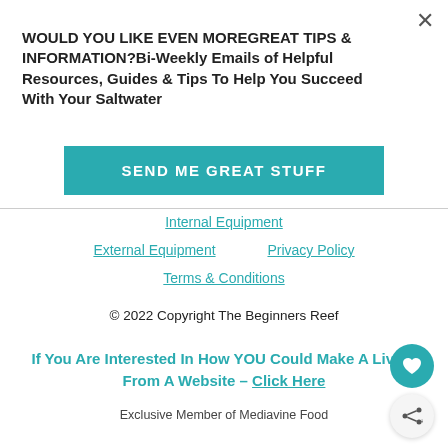WOULD YOU LIKE EVEN MOREGREAT TIPS & INFORMATION?Bi-Weekly Emails of Helpful Resources, Guides & Tips To Help You Succeed With Your Saltwater
SEND ME GREAT STUFF
Internal Equipment
External Equipment   Privacy Policy
Terms & Conditions
© 2022 Copyright The Beginners Reef
If You Are Interested In How YOU Could Make A Living From A Website – Click Here
Exclusive Member of Mediavine Food